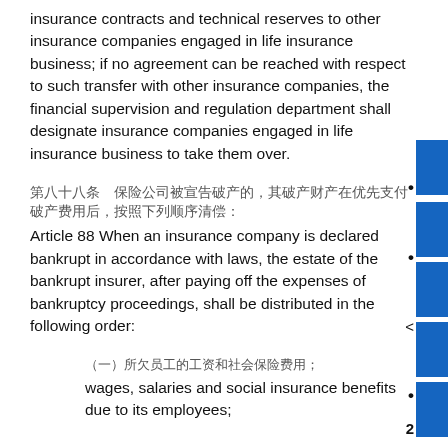insurance contracts and technical reserves to other insurance companies engaged in life insurance business; if no agreement can be reached with respect to such transfer with other insurance companies, the financial supervision and regulation department shall designate insurance companies engaged in life insurance business to take them over.
第八十八条　保险公司被宣告破产的，其破产财产在优先支付破产费用后，按照下列顺序清偿：
Article 88 When an insurance company is declared bankrupt in accordance with laws, the estate of the bankrupt insurer, after paying off the expenses of bankruptcy proceedings, shall be distributed in the following order:
（一）所欠员工的工资和社会保险费用；
wages, salaries and social insurance benefits due to its employees;